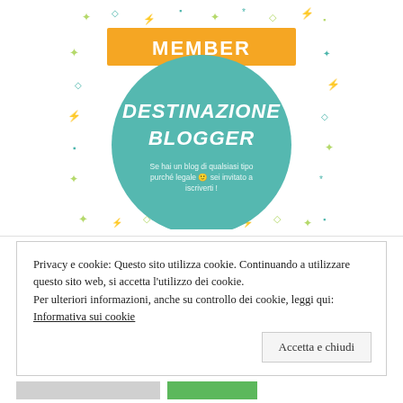[Figure (illustration): Badge image for 'Destinazione Blogger' membership. Orange rectangle banner at top with white bold text 'MEMBER'. Below is a teal/turquoise circle on a white background with decorative doodles (lightning bolts, diamonds, asterisks, squares in lime green and teal outline). Inside the circle: italic bold white text 'DESTINAZIONE BLOGGER' and smaller light text 'Se hai un blog di qualsiasi tipo purché legale 🙂 sei invitato a iscriverti !']
Privacy e cookie: Questo sito utilizza cookie. Continuando a utilizzare questo sito web, si accetta l'utilizzo dei cookie.
Per ulteriori informazioni, anche su controllo dei cookie, leggi qui:
Informativa sui cookie
Accetta e chiudi